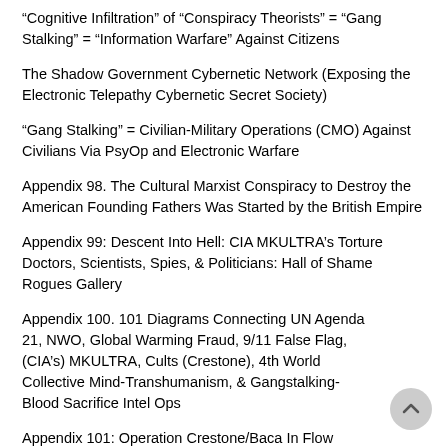“Cognitive Infiltration” of “Conspiracy Theorists” = “Gang Stalking” = “Information Warfare” Against Citizens
The Shadow Government Cybernetic Network (Exposing the Electronic Telepathy Cybernetic Secret Society)
“Gang Stalking” = Civilian-Military Operations (CMO) Against Civilians Via PsyOp and Electronic Warfare
Appendix 98. The Cultural Marxist Conspiracy to Destroy the American Founding Fathers Was Started by the British Empire
Appendix 99: Descent Into Hell: CIA MKULTRA’s Torture Doctors, Scientists, Spies, & Politicians: Hall of Shame Rogues Gallery
Appendix 100. 101 Diagrams Connecting UN Agenda 21, NWO, Global Warming Fraud, 9/11 False Flag, (CIA’s) MKULTRA, Cults (Crestone), 4th World Collective Mind-Transhumanism, & Gangstalking-Blood Sacrifice Intel Ops
Appendix 101: Operation Crestone/Baca In Flow